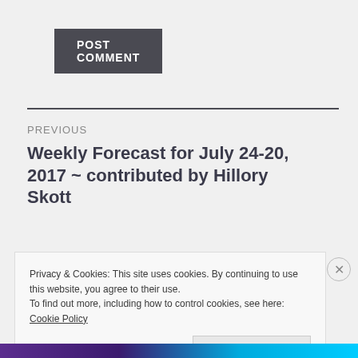POST COMMENT
PREVIOUS
Weekly Forecast for July 24-20, 2017 ~ contributed by Hillory Skott
Privacy & Cookies: This site uses cookies. By continuing to use this website, you agree to their use.
To find out more, including how to control cookies, see here:
Cookie Policy
Close and accept